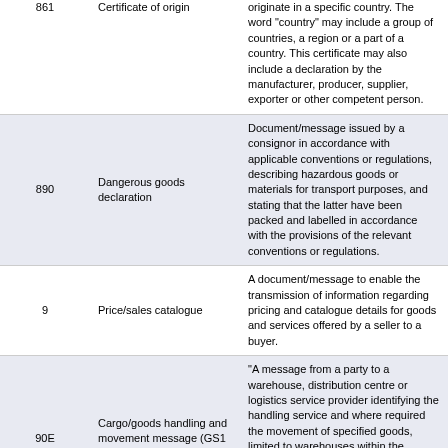| Code | Name | Description |
| --- | --- | --- |
| 861 | Certificate of origin | originate in a specific country. The word "country" may include a group of countries, a region or a part of a country. This certificate may also include a declaration by the manufacturer, producer, supplier, exporter or other competent person. |
| 890 | Dangerous goods declaration | Document/message issued by a consignor in accordance with applicable conventions or regulations, describing hazardous goods or materials for transport purposes, and stating that the latter have been packed and labelled in accordance with the provisions of the relevant conventions or regulations. |
| 9 | Price/sales catalogue | A document/message to enable the transmission of information regarding pricing and catalogue details for goods and services offered by a seller to a buyer. |
| 90E | Cargo/goods handling and movement message (GS1 Temporary Code) | "A message from a party to a warehouse, distribution centre or logistics service provider identifying the handling service and where required the movement of specified goods, limited to warehouses within the jurisdiction of the distribution centre or logistics service provider. GS1 Note: Code marked for deletion. Use value 738 instead." |